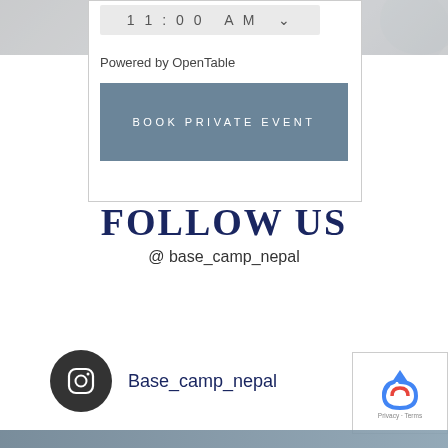[Figure (screenshot): Web widget showing time selector at 11:00 AM with a blue-grey 'BOOK PRIVATE EVENT' button and 'Powered by OpenTable' text]
Powered by OpenTable
BOOK PRIVATE EVENT
FOLLOW US
@ base_camp_nepal
Base_camp_nepal
[Figure (logo): Google reCAPTCHA badge with Privacy and Terms links]